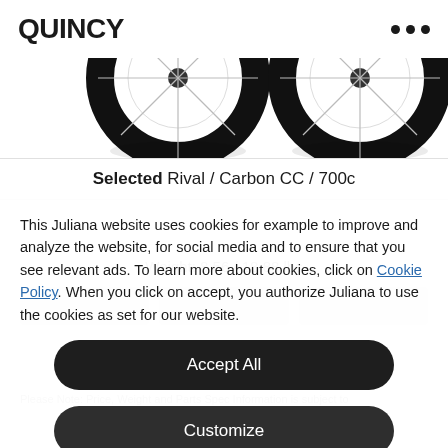QUINCY
[Figure (photo): Two bicycle wheels (front and rear) partially visible from the top, black tires with spoke detail and drop shadows]
Selected Rival / Carbon CC / 700c
This Juliana website uses cookies for example to improve and analyze the website, for social media and to ensure that you see relevant ads. To learn more about cookies, click on Cookie Policy. When you click on accept, you authorize Juliana to use the cookies as set for our website.
Accept All
Customize
Decline All